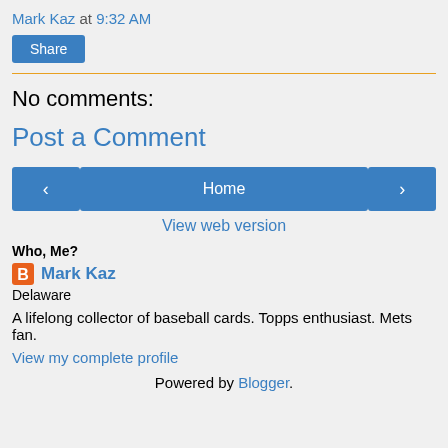Mark Kaz at 9:32 AM
Share
No comments:
Post a Comment
‹ Home ›
View web version
Who, Me?
Mark Kaz
Delaware
A lifelong collector of baseball cards. Topps enthusiast. Mets fan.
View my complete profile
Powered by Blogger.